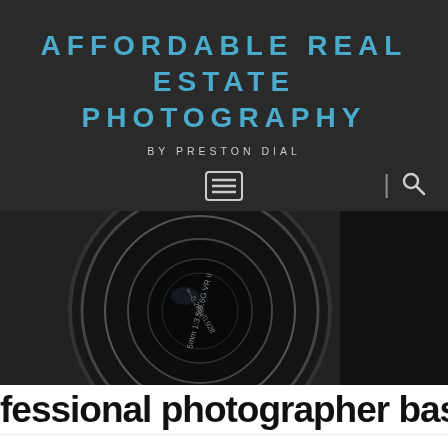AFFORDABLE REAL ESTATE PHOTOGRAPHY
BY PRESTON DIAL
[Figure (screenshot): Navigation bar with hamburger menu icon and search icon on dark background]
[Figure (photo): Close-up photo of a camera lens (Nikon 5mm 1:3.5-5.6G VR II) in dark monochrome]
fessional photographer based in C
WHY ME?